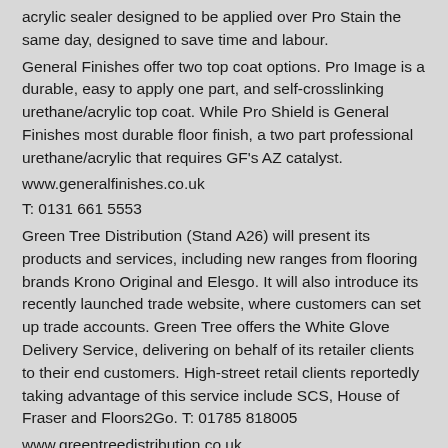acrylic sealer designed to be applied over Pro Stain the same day, designed to save time and labour.
General Finishes offer two top coat options. Pro Image is a durable, easy to apply one part, and self-crosslinking urethane/acrylic top coat. While Pro Shield is General Finishes most durable floor finish, a two part professional urethane/acrylic that requires GF's AZ catalyst.
www.generalfinishes.co.uk
T: 0131 661 5553
Green Tree Distribution (Stand A26) will present its products and services, including new ranges from flooring brands Krono Original and Elesgo. It will also introduce its recently launched trade website, where customers can set up trade accounts. Green Tree offers the White Glove Delivery Service, delivering on behalf of its retailer clients to their end customers. High-street retail clients reportedly taking advantage of this service include SCS, House of Fraser and Floors2Go. T: 01785 818005
www.greentreedistribution.co.uk
Hanson Plywood (Stand M7) says its SP101 flooring plywood is a